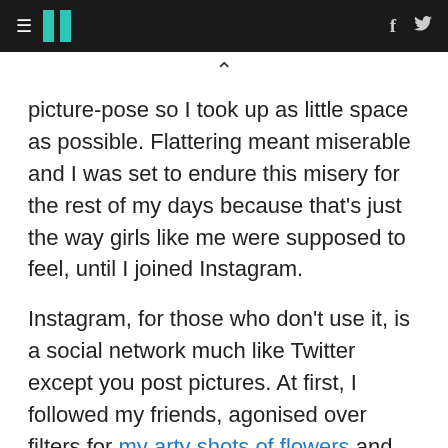HuffPost navigation with hamburger menu, logo, Facebook and Twitter icons
picture-pose so I took up as little space as possible. Flattering meant miserable and I was set to endure this misery for the rest of my days because that's just the way girls like me were supposed to feel, until I joined Instagram.
Instagram, for those who don't use it, is a social network much like Twitter except you post pictures. At first, I followed my friends, agonised over filters for my arty shots of flowers and enjoyed a feed populated with photos of pet cats, crap dinners and happy holidays. Then I found Instagram's 'discover' function which began